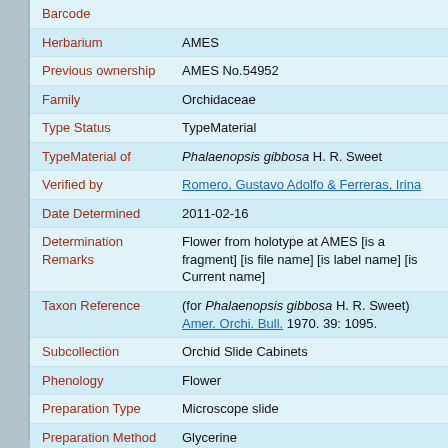| Field | Value |
| --- | --- |
| Barcode |  |
| Herbarium | AMES |
| Previous ownership | AMES No.54952 |
| Family | Orchidaceae |
| Type Status | TypeMaterial |
| TypeMaterial of | Phalaenopsis gibbosa H. R. Sweet |
| Verified by | Romero, Gustavo Adolfo & Ferreras, Irina |
| Date Determined | 2011-02-16 |
| Determination Remarks | Flower from holotype at AMES [is a fragment] [is file name] [is label name] [is Current name] |
| Taxon Reference | (for Phalaenopsis gibbosa H. R. Sweet) Amer. Orchi. Bull. 1970. 39: 1095. |
| Subcollection | Orchid Slide Cabinets |
| Phenology | Flower |
| Preparation Type | Microscope slide |
| Preparation Method | Glycerine |